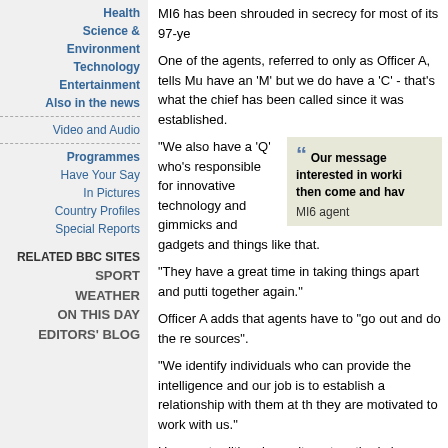Health
Science & Environment
Technology
Entertainment
Also in the news
Video and Audio
Programmes
Have Your Say
In Pictures
Country Profiles
Special Reports
RELATED BBC SITES
SPORT
WEATHER
ON THIS DAY
EDITORS' BLOG
MI6 has been shrouded in secrecy for most of its 97-ye
One of the agents, referred to only as Officer A, tells Mu have an 'M' but we do have a 'C' - that's what the chief has been called since it was established.
"We also have a 'Q' who's responsible for innovative technology and gimmicks and gadgets and things like that.
[Figure (other): Pull quote box: Our message interested in worki then come and hav - MI6 agent]
"They have a great time in taking things apart and putti together again."
Officer A adds that agents have to "go out and do the re sources".
"We identify individuals who can provide the intelligence and our job is to establish a relationship with them at th they are motivated to work with us."
He says traditional recruitment methods have been cha launch of the MI6 website.
"Our message is now if you're interested in working for come and have a go.
"But it certainly wasn't like that when I came to it. My sh and truly tapped."
'Quite glamorous'